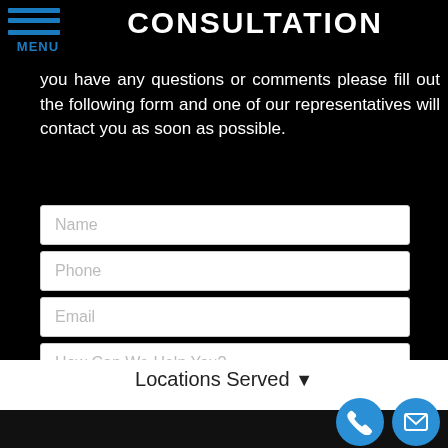CONSULTATION
you have any questions or comments please fill out the following form and one of our representatives will contact you as soon as possible.
[Figure (screenshot): Web contact form with fields for Name, Phone, Email, and How Can We Help You, plus a blue SUBMIT MY REQUEST button]
Locations Served ▼